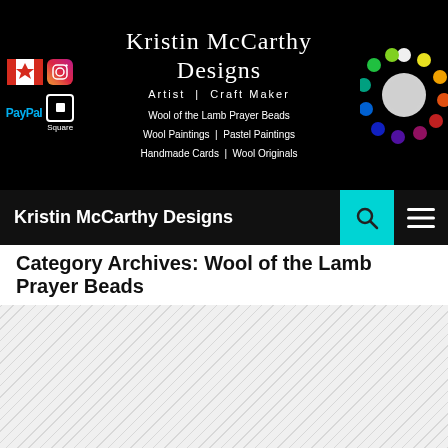Kristin McCarthy Designs — Artist | Craft Maker — Wool of the Lamb Prayer Beads | Wool Paintings | Pastel Paintings | Handmade Cards | Wool Originals
Kristin McCarthy Designs
Category Archives: Wool of the Lamb Prayer Beads
[Figure (other): Striped placeholder/loading area below the category archive heading]